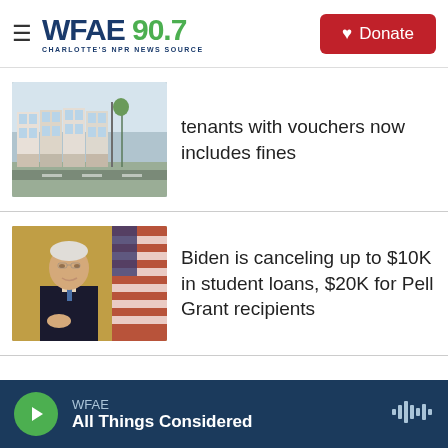WFAE 90.7 — Charlotte's NPR News Source | Donate
[Figure (photo): Aerial/street view of townhouses or row houses along a road]
tenants with vouchers now includes fines
[Figure (photo): President Biden at a podium or signing ceremony, wearing a dark suit and tie, with an American flag in the background]
Biden is canceling up to $10K in student loans, $20K for Pell Grant recipients
WFAE — All Things Considered